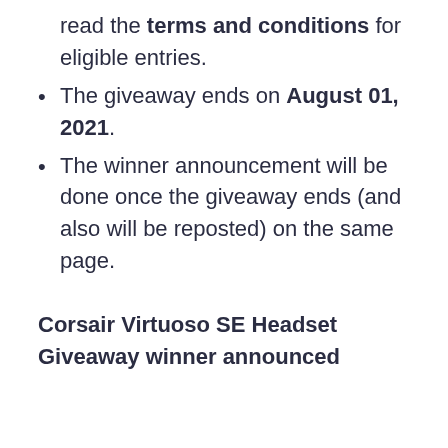read the terms and conditions for eligible entries.
The giveaway ends on August 01, 2021.
The winner announcement will be done once the giveaway ends (and also will be reposted) on the same page.
Corsair Virtuoso SE Headset Giveaway winner announced